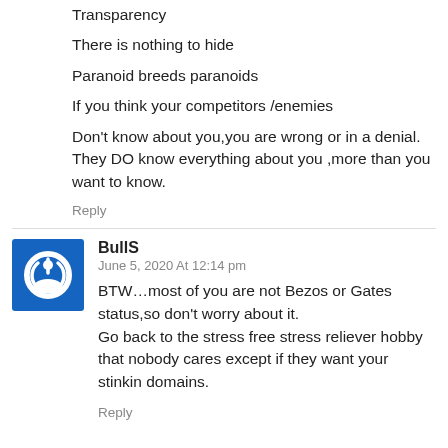Transparency
There is nothing to hide
Paranoid breeds paranoids
If you think your competitors /enemies
Don’t know about you,you are wrong or in a denial. They DO know everything about you ,more than you want to know.
Reply
BullS
June 5, 2020 At 12:14 pm
BTW…most of you are not Bezos or Gates status,so don’t worry about it.
Go back to the stress free stress reliever hobby that nobody cares except if they want your stinkin domains.
Reply